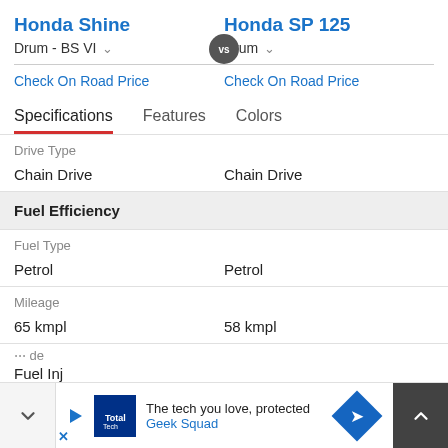Honda Shine
Honda SP 125
Drum - BS VI
Drum
Check On Road Price
Check On Road Price
Specifications  Features  Colors
Drive Type
Chain Drive
Chain Drive
Fuel Efficiency
Fuel Type
Petrol
Petrol
Mileage
65 kmpl
58 kmpl
Fuel de...
Fuel Inj...
The tech you love, protected Geek Squad